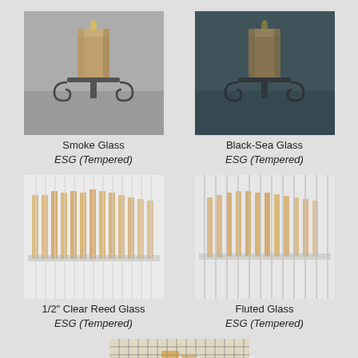[Figure (photo): Photo of a candle on a decorative iron stand viewed through smoke-tinted glass — muted warm grey tone]
Smoke Glass
ESG (Tempered)
[Figure (photo): Photo of a candle on a decorative iron stand viewed through black-sea tinted glass — dark blue-green tone]
Black-Sea Glass
ESG (Tempered)
[Figure (photo): Photo of multiple candles viewed through 1/2-inch clear reed glass showing vertical reed pattern]
1/2" Clear Reed Glass
ESG (Tempered)
[Figure (photo): Photo of multiple candles viewed through fluted glass showing vertical fluted pattern]
Fluted Glass
ESG (Tempered)
[Figure (photo): Partially visible photo of a candle behind wire-grid / chicken-wire glass — bottom portion only visible]